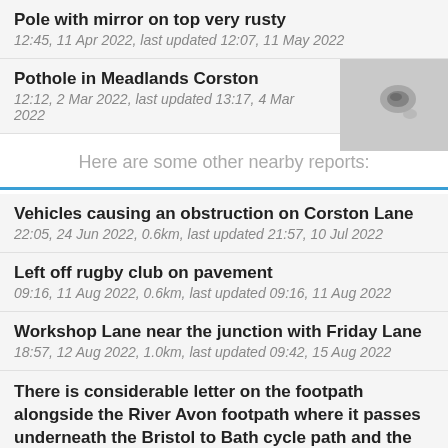Pole with mirror on top very rusty
12:45, 11 Apr 2022, last updated 12:07, 11 May 2022
Pothole in Meadlands Corston
12:12, 2 Mar 2022, last updated 13:17, 4 Mar 2022
Here are some other nearby reports:
Vehicles causing an obstruction on Corston Lane
22:05, 24 Jun 2022, 0.6km, last updated 21:57, 10 Jul 2022
Left off rugby club on pavement
09:16, 11 Aug 2022, 0.6km, last updated 09:16, 11 Aug 2022
Workshop Lane near the junction with Friday Lane
18:57, 12 Aug 2022, 1.0km, last updated 09:42, 15 Aug 2022
There is considerable letter on the footpath alongside the River Avon footpath where it passes underneath the Bristol to Bath cycle path and the old line dividing it in two with